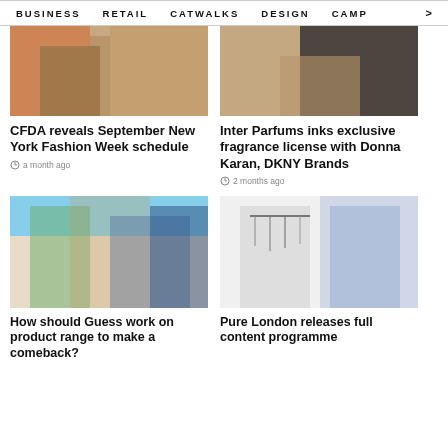BUSINESS   RETAIL   CATWALKS   DESIGN   CAMP >
[Figure (photo): Fashion photo showing people in casual outfits (top left card image)]
CFDA reveals September New York Fashion Week schedule
a month ago
[Figure (photo): Fashion photo showing a person's midriff (top right card image)]
Inter Parfums inks exclusive fragrance license with Donna Karan, DKNY Brands
2 months ago
[Figure (photo): Group of people walking outdoors in summer fashion (Guess article image)]
How should Guess work on product range to make a comeback?
[Figure (photo): Two people posing near clothing rack (Pure London article image)]
Pure London releases full content programme